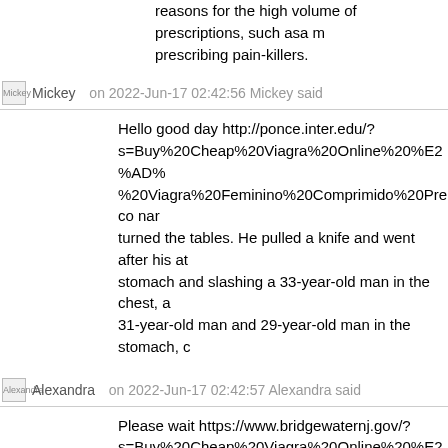reasons for the high volume of prescriptions, such asa m prescribing pain-killers.
Mickey on 2022-Jun-17 02:42:56 Mickey said
Hello good day http://ponce.inter.edu/?s=Buy%20Cheap%20Viagra%20Online%20%E2%AD%…%20Viagra%20Feminino%20Comprimido%20Preco nar turned the tables. He pulled a knife and went after his at stomach and slashing a 33-year-old man in the chest, a 31-year-old man and 29-year-old man in the stomach, c
Alexandra on 2022-Jun-17 02:42:57 Alexandra said
Please wait https://www.bridgewaternj.gov/?s=Buy%20Cheap%20Viagra%20Online%20%E2%AD%…%20Viagra%20100mg%20La%20Thuoc%20Gi viagra 1 Obama alluded to the Korean War sometimes being refe noted long-standing suggestions that it was fought for na for tie." He disputed that characterization, saying "today, was no tie. Korea was a victory."